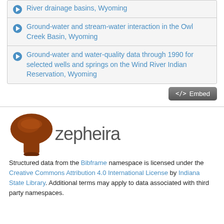River drainage basins, Wyoming
Ground-water and stream-water interaction in the Owl Creek Basin, Wyoming
Ground-water and water-quality data through 1990 for selected wells and springs on the Wind River Indian Reservation, Wyoming
[Figure (logo): Zepheira logo with brown mushroom-like icon and 'zepheira' text]
Structured data from the Bibframe namespace is licensed under the Creative Commons Attribution 4.0 International License by Indiana State Library. Additional terms may apply to data associated with third party namespaces.